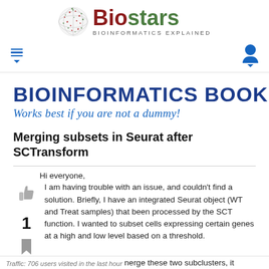[Figure (logo): Biostars logo: globe made of red and green stars, with 'Biostars' in dark red and green bold text, and 'BIOINFORMATICS EXPLAINED' subtitle below]
Navigation bar with hamburger menu icon (left) and user profile icon (right)
BIOINFORMATICS BOOK FO[R]
Works best if you are not a dummy!
Merging subsets in Seurat after SCTransform
Hi everyone,
I am having trouble with an issue, and couldn't find a solution. Briefly, I have an integrated Seurat object (WT and Treat samples) that been processed by the SCT function. I wanted to subset cells expressing certain genes at a high and low level based on a threshold.
Traffic: 706 users visited in the last hour  ...nerge these two subclusters, it